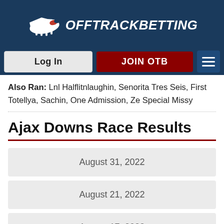[Figure (logo): OffTrackBetting logo with horse graphic and navigation buttons (Log In, JOIN OTB, hamburger menu) on dark blue background]
Also Ran: Lnl Halflitnlaughin, Senorita Tres Seis, First Totellya, Sachin, One Admission, Ze Special Missy
Ajax Downs Race Results
August 31, 2022
August 21, 2022
August 17, 2022
August 10, 2022